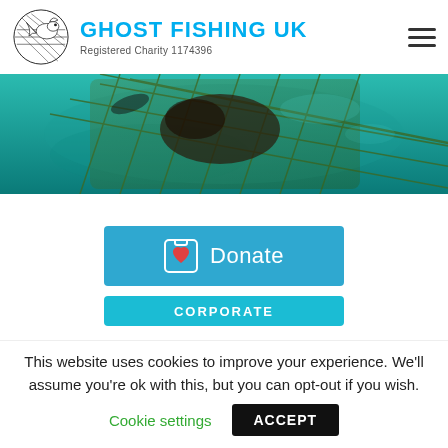[Figure (logo): Ghost Fishing UK logo — stylized fish/wave outline forming a circle, with site title GHOST FISHING UK in cyan and subtitle Registered Charity 1174396]
[Figure (photo): Underwater photograph showing a diver or marine creature entangled in a green fishing net, photographed from above in teal/turquoise water]
[Figure (other): Blue Donate button with clipboard icon containing a heart and Donate text in white]
[Figure (other): Cyan CORPORATE button, partially visible at bottom of content area]
This website uses cookies to improve your experience. We'll assume you're ok with this, but you can opt-out if you wish.
Cookie settings
ACCEPT